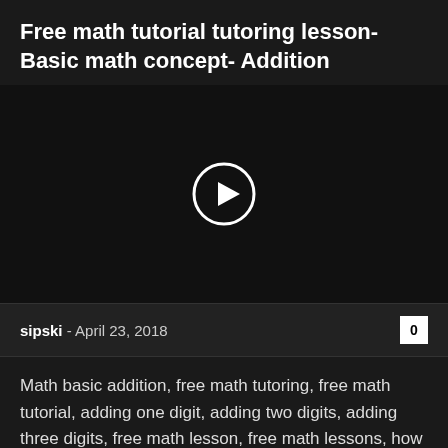Free math tutorial tutoring lesson- Basic math concept- Addition
[Figure (screenshot): Dark video thumbnail with a circular play button in the center]
sipski  -  April 23, 2018
Math basic addition, free math tutoring, free math tutorial, adding one digit, adding two digits, adding three digits, free math lesson, free math lessons, how to do addition, how to add, home schooling, homeschooling, homeschool, math